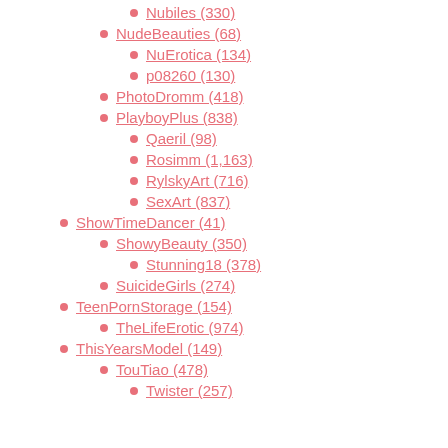Nubiles (330)
NudeBeauties (68)
NuErotica (134)
p08260 (130)
PhotoDromm (418)
PlayboyPlus (838)
Qaeril (98)
Rosimm (1,163)
RylskyArt (716)
SexArt (837)
ShowTimeDancer (41)
ShowyBeauty (350)
Stunning18 (378)
SuicideGirls (274)
TeenPornStorage (154)
TheLifeErotic (974)
ThisYearsModel (149)
TouTiao (478)
Twister (257)